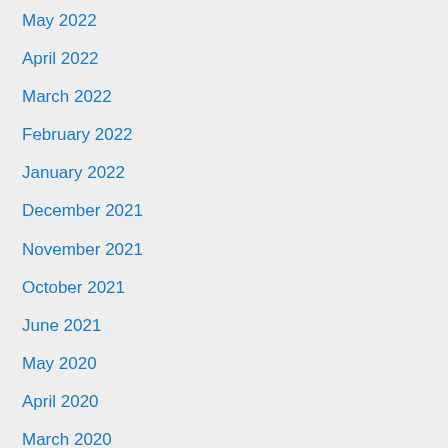May 2022
April 2022
March 2022
February 2022
January 2022
December 2021
November 2021
October 2021
June 2021
May 2020
April 2020
March 2020
February 2020
January 2020
October 2019